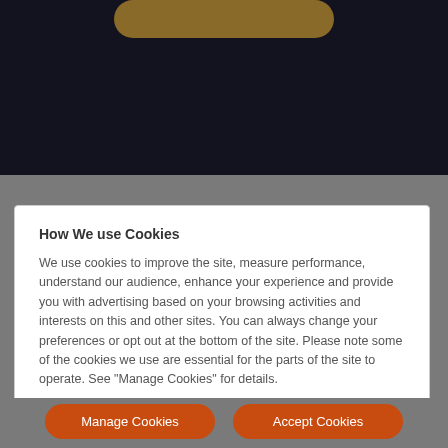[Figure (screenshot): Dark navy top bar with a gold/brown rounded pill button visible at the top center, above a gray background overlay]
How We use Cookies
We use cookies to improve the site, measure performance, understand our audience, enhance your experience and provide you with advertising based on your browsing activities and interests on this and other sites. You can always change your preferences or opt out at the bottom of the site. Please note some of the cookies we use are essential for the parts of the site to operate. See "Manage Cookies" for details.
Manage Cookies
Accept Cookies